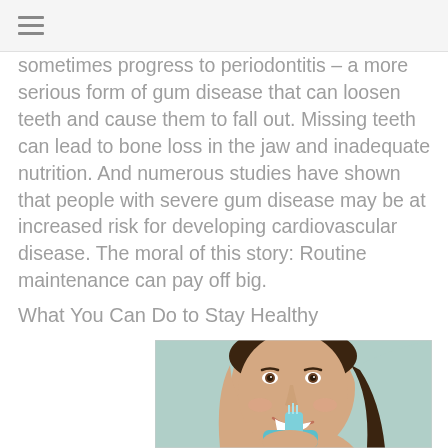≡
sometimes progress to periodontitis – a more serious form of gum disease that can loosen teeth and cause them to fall out. Missing teeth can lead to bone loss in the jaw and inadequate nutrition. And numerous studies have shown that people with severe gum disease may be at increased risk for developing cardiovascular disease. The moral of this story: Routine maintenance can pay off big.
What You Can Do to Stay Healthy
[Figure (photo): Young woman smiling while brushing her teeth with a blue toothbrush, close-up portrait against light blue background]